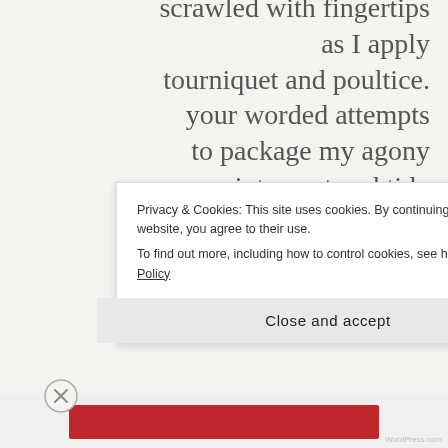scrawled with fingertips
as I apply
tourniquet and poultice.
your worded attempts
to package my agony
into neat and tidy
boxes
are ill-advised salt flakes
poured into my wounds.
Privacy & Cookies: This site uses cookies. By continuing to use this website, you agree to their use.
To find out more, including how to control cookies, see here: Cookie Policy
Close and accept